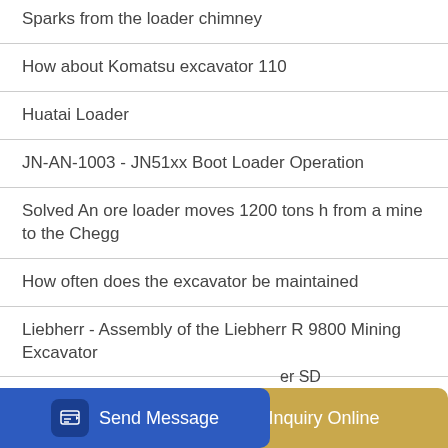Sparks from the loader chimney
How about Komatsu excavator 110
Huatai Loader
JN-AN-1003 - JN51xx Boot Loader Operation
Solved An ore loader moves 1200 tons h from a mine to the Chegg
How often does the excavator be maintained
Liebherr - Assembly of the Liebherr R 9800 Mining Excavator
Excavator Finance
...er SD... use